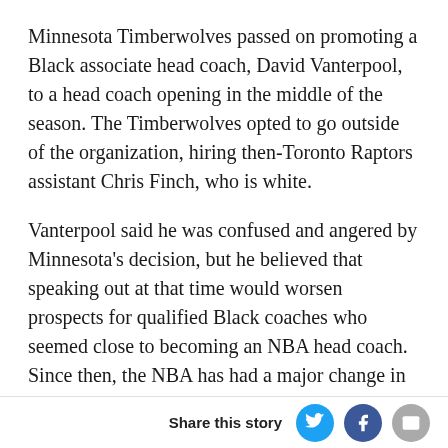Minnesota Timberwolves passed on promoting a Black associate head coach, David Vanterpool, to a head coach opening in the middle of the season. The Timberwolves opted to go outside of the organization, hiring then-Toronto Raptors assistant Chris Finch, who is white.
Vanterpool said he was confused and angered by Minnesota's decision, but he believed that speaking out at that time would worsen prospects for qualified Black coaches who seemed close to becoming an NBA head coach. Since then, the NBA has had a major change in its coaching ranks – seven Black head coaches were hired last offseason and there are currently 14 in the 30-team league.
While Vanterpool wasn't hired, the ex-NBA player with
Share this story